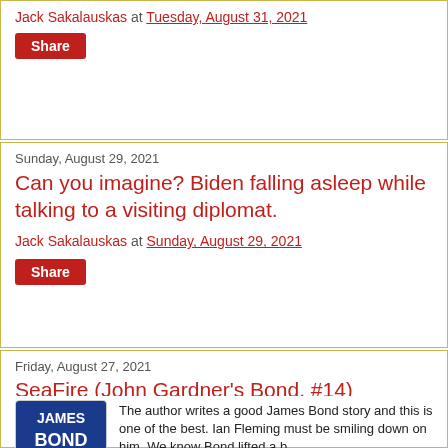Jack Sakalauskas at Tuesday, August 31, 2021
Share
Sunday, August 29, 2021
Can you imagine? Biden falling asleep while talking to a visiting diplomat.
Jack Sakalauskas at Sunday, August 29, 2021
Share
Friday, August 27, 2021
SeaFire (John Gardner's Bond, #14)
[Figure (illustration): James Bond 007 book cover with blue background and white bold text]
The author writes a good James Bond story and this is one of the best. Ian Fleming must be smiling down on him. We know Bond lifted a b...